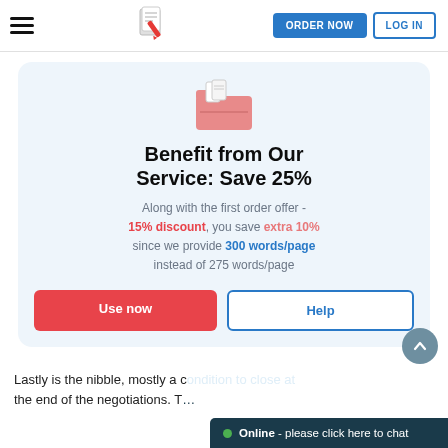ORDER NOW  LOG IN
[Figure (illustration): Pink folder icon with white document papers sticking out the top]
Benefit from Our Service: Save 25%
Along with the first order offer - 15% discount, you save extra 10% since we provide 300 words/page instead of 275 words/page
Use now    Help
Lastly is the nibble, mostly a c... the end of the negotiations. T...
Online - please click here to chat